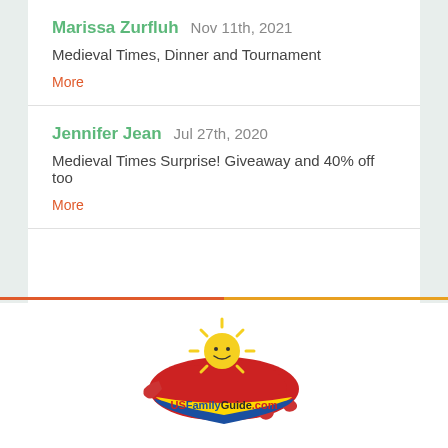Marissa Zurfluh  Nov 11th, 2021
Medieval Times, Dinner and Tournament
More
Jennifer Jean  Jul 27th, 2020
Medieval Times Surprise! Giveaway and 40% off too
More
[Figure (logo): USFamilyGuide.com logo with a smiling sun character lying on a red US map shape with a yellow and blue banner reading USFamilyGuide.com]